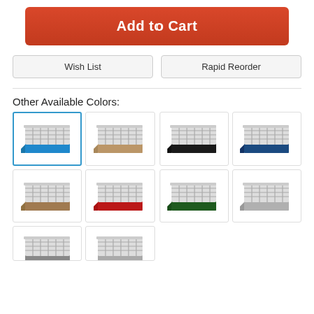Add to Cart
Wish List
Rapid Reorder
Other Available Colors:
[Figure (photo): Blue glass rack (selected, highlighted with blue border)]
[Figure (photo): Tan/beige glass rack]
[Figure (photo): Black glass rack]
[Figure (photo): Dark blue glass rack]
[Figure (photo): Tan glass rack (row 2)]
[Figure (photo): Red glass rack]
[Figure (photo): Green glass rack]
[Figure (photo): Light gray glass rack]
[Figure (photo): Glass rack (partial, bottom row left)]
[Figure (photo): Glass rack (partial, bottom row right)]